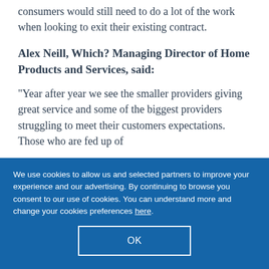consumers would still need to do a lot of the work when looking to exit their existing contract.
Alex Neill, Which? Managing Director of Home Products and Services, said:
“Year after year we see the smaller providers giving great service and some of the biggest providers struggling to meet their customers expectations. Those who are fed up of
We use cookies to allow us and selected partners to improve your experience and our advertising. By continuing to browse you consent to our use of cookies. You can understand more and change your cookies preferences here.